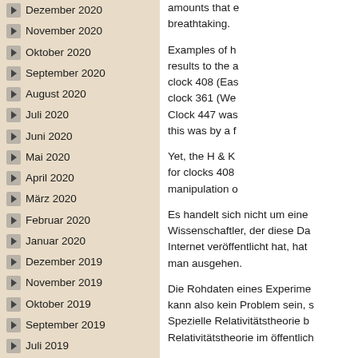Dezember 2020
November 2020
Oktober 2020
September 2020
August 2020
Juli 2020
Juni 2020
Mai 2020
April 2020
März 2020
Februar 2020
Januar 2020
Dezember 2019
November 2019
Oktober 2019
September 2019
Juli 2019
Juni 2019
April 2019
März 2019
amounts that e… breathtaking.
Examples of h… results to the a… clock 408 (Eas… clock 361 (We… Clock 447 was… this was by a f…
Yet, the H & K… for clocks 408… manipulation o…
Es handelt sich nicht um einen… Wissenschaftler, der diese Da… Internet veröffentlicht hat, hat… man ausgehen.
Die Rohdaten eines Experime… kann also kein Problem sein, s… Spezielle Relativitätstheorie b… Relativitätstheorie im öffentlich…